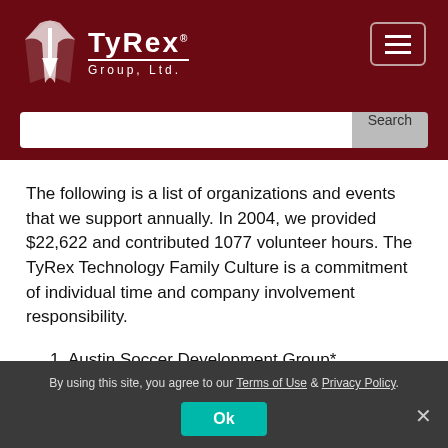TyRex Group, Ltd. — navigation header with logo and search bar
The following is a list of organizations and events that we support annually. In 2004, we provided $22,622 and contributed 1077 volunteer hours. The TyRex Technology Family Culture is a commitment of individual time and company involvement responsibility.
1. Austin Soccer Development Group*
2. Texas Memorial Museum – Austin Science Fun Day
By using this site, you agree to our Terms of Use & Privacy Policy. Ok